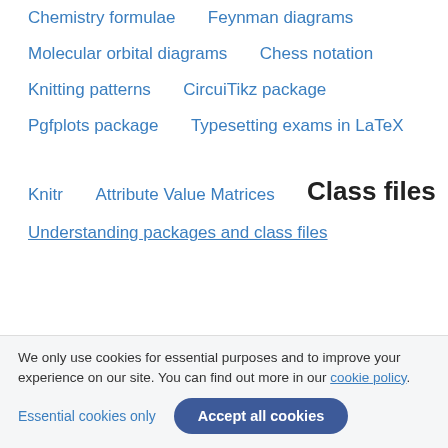Chemistry formulae
Feynman diagrams
Molecular orbital diagrams
Chess notation
Knitting patterns
CircuiTikz package
Pgfplots package
Typesetting exams in LaTeX
Knitr
Attribute Value Matrices
Class files
Understanding packages and class files
We only use cookies for essential purposes and to improve your experience on our site. You can find out more in our cookie policy.
Essential cookies only
Accept all cookies